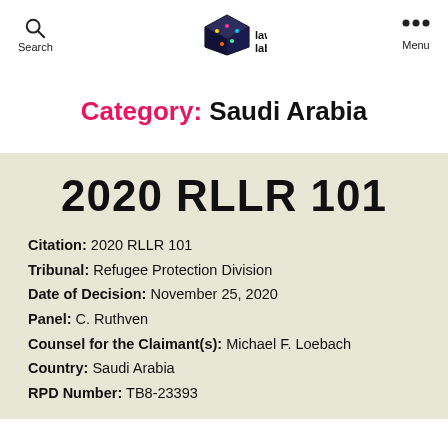Search | law lab | Menu
Category: Saudi Arabia
2020 RLLR 101
Citation: 2020 RLLR 101
Tribunal: Refugee Protection Division
Date of Decision: November 25, 2020
Panel: C. Ruthven
Counsel for the Claimant(s): Michael F. Loebach
Country: Saudi Arabia
RPD Number: TB8-23393